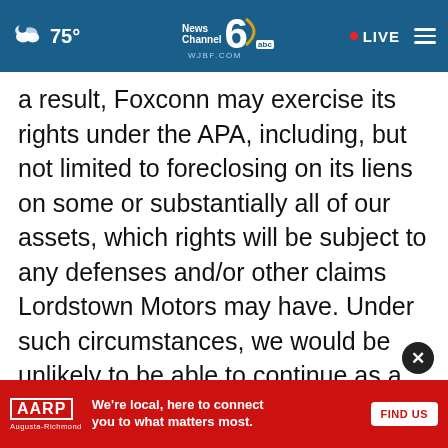News Channel 6 WJBF.COM | 75° | LIVE
a result, Foxconn may exercise its rights under the APA, including, but not limited to foreclosing on its liens on some or substantially all of our assets, which rights will be subject to any defenses and/or other claims Lordstown Motors may have. Under such circumstances, we would be unlikely to be able to continue as a going concern. We will need additional funding to execute our 2022 business plan and achieve scaled production of the Endurance. As we seek additional…[continuing] …there no
[Figure (other): AARP Augusta-Richmond advertisement banner: 'We're local, here to connect you to what matters most.' with FIND US button]